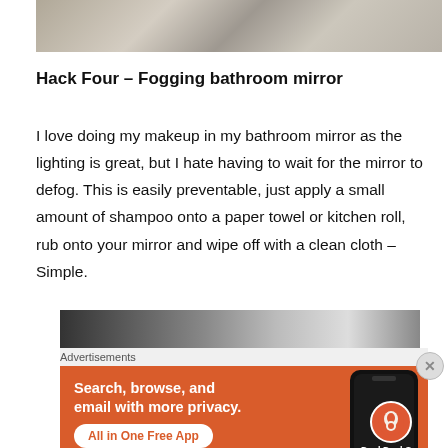[Figure (photo): Top portion of a photo showing what appears to be a wooden surface with some objects, partially cropped]
Hack Four – Fogging bathroom mirror
I love doing my makeup in my bathroom mirror as the lighting is great, but I hate having to wait for the mirror to defog. This is easily preventable, just apply a small amount of shampoo onto a paper towel or kitchen roll, rub onto your mirror and wipe off with a clean cloth – Simple.
[Figure (photo): Bottom portion of a photo showing a bathroom mirror or glass surface, partially visible]
Advertisements
[Figure (screenshot): DuckDuckGo advertisement banner with orange background. Text reads: Search, browse, and email with more privacy. All in One Free App. Shows a phone with DuckDuckGo logo.]